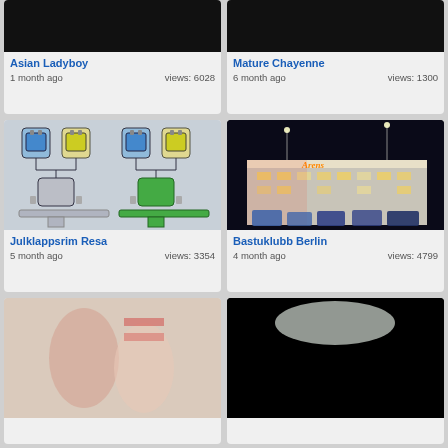Asian Ladyboy
1 month ago   views: 6028
Mature Chayenne
6 month ago   views: 1300
[Figure (photo): Engineering/industrial diagram showing tanks and valves]
Julklappsrim Resa
5 month ago   views: 3354
[Figure (photo): Nighttime photo of Arens building with police vehicles]
Bastuklubb Berlin
4 month ago   views: 4799
[Figure (photo): Photo - blurred adult content]
[Figure (photo): Dark photo with partial visible content]